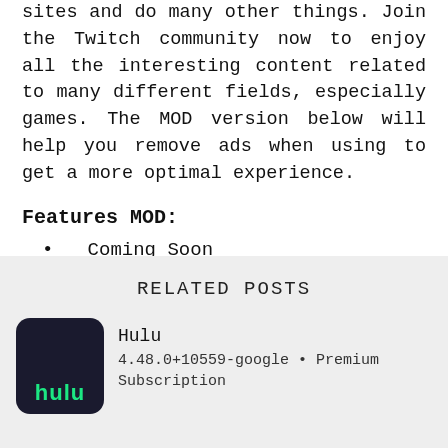sites and do many other things. Join the Twitch community now to enjoy all the interesting content related to many different fields, especially games. The MOD version below will help you remove ads when using to get a more optimal experience.
Features MOD:
Coming Soon
RELATED POSTS
Hulu
4.48.0+10559-google • Premium Subscription